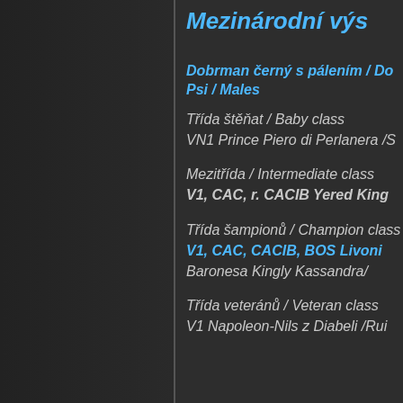Mezinárodní výs
Dobrman černý s pálením / Do Psi / Males
Třída štěňat / Baby class
VN1 Prince Piero di Perlanera /S
Mezitřída / Intermediate class
V1, CAC, r. CACIB Yered King
Třída šampionů / Champion class
V1, CAC, CACIB, BOS Livoni
Baronesa Kingly Kassandra/
Třída veteránů / Veteran class
V1 Napoleon-Nils z Diabeli /Rui